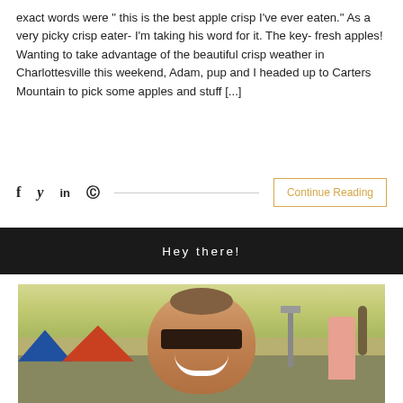exact words were " this is the best apple crisp I've ever eaten." As a very picky crisp eater- I'm taking his word for it. The key- fresh apples! Wanting to take advantage of the beautiful crisp weather in Charlottesville this weekend, Adam, pup and I headed up to Carters Mountain to pick some apples and stuff [...]
f  ❧  in  ⊕  ——————————————————  Continue Reading
Hey there!
[Figure (photo): A smiling woman with sunglasses and hair in a bun at an outdoor market with palm trees, a red tent, and a man in pink shirt in the background. Warm golden sunset lighting.]